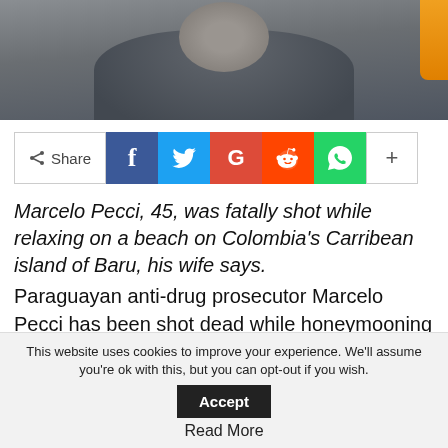[Figure (photo): Partial photo of a person (man) wearing a dark grey sweater, cropped at the top of the page]
[Figure (infographic): Social share bar with Share label, Facebook, Twitter, Google+, Reddit, WhatsApp icons and a + more button]
Marcelo Pecci, 45, was fatally shot while relaxing on a beach on Colombia's Carribean island of Baru, his wife says.
Paraguayan anti-drug prosecutor Marcelo Pecci has been shot dead while honeymooning on a Colombian Caribbean island by men who fled by sea, police and his widow said.
This website uses cookies to improve your experience. We'll assume you're ok with this, but you can opt-out if you wish.
Read More